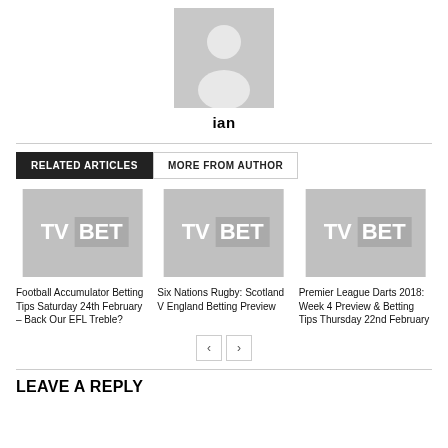[Figure (illustration): Generic user avatar placeholder image — grey background with white silhouette of a person]
ian
RELATED ARTICLES   MORE FROM AUTHOR
[Figure (logo): TV BET logo placeholder thumbnail for Football Accumulator article]
Football Accumulator Betting Tips Saturday 24th February – Back Our EFL Treble?
[Figure (logo): TV BET logo placeholder thumbnail for Six Nations Rugby article]
Six Nations Rugby: Scotland V England Betting Preview
[Figure (logo): TV BET logo placeholder thumbnail for Premier League Darts article]
Premier League Darts 2018: Week 4 Preview & Betting Tips Thursday 22nd February
LEAVE A REPLY